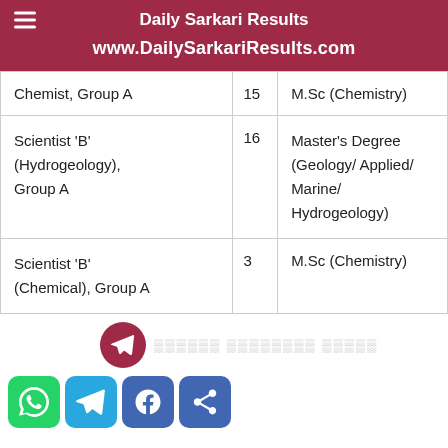Daily Sarkari Results
www.DailySarkariResults.com
| Chemist, Group A | 15 | M.Sc (Chemistry) |
| Scientist 'B' (Hydrogeology), Group A | 16 | Master's Degree (Geology/ Applied/ Marine/ Hydrogeology) |
| Scientist 'B' (Chemical), Group A | 3 | M.Sc (Chemistry) |
Join Telegram channel (social share icons)